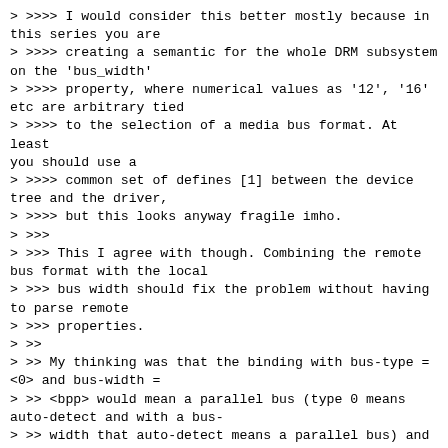> >>>> I would consider this better mostly because in this series you are
> >>>> creating a semantic for the whole DRM subsystem on the 'bus_width'
> >>>> property, where numerical values as '12', '16' etc are arbitrary tied
> >>>> to the selection of a media bus format. At least you should use a
> >>>> common set of defines [1] between the device tree and the driver,
> >>>> but this looks anyway fragile imho.
> >>>
> >>> This I agree with though. Combining the remote bus format with the local
> >>> bus width should fix the problem without having to parse remote
> >>> properties.
> >>
> >> My thinking was that the binding with bus-type = <0> and bus-width =
> >> <bpp> would mean a parallel bus (type 0 means auto-detect and with a bus-
> >> width that auto-detect means a parallel bus) and the most natural/common
> >> interpretation of that bus-width. For bus widths of 12, 16, 18, 24, 30
> >> etc I think that would be rgb444, rgb565, rgb666, rgb888, rgb101010 (or,
> >> I'm first so I get to define the default). If you have some other